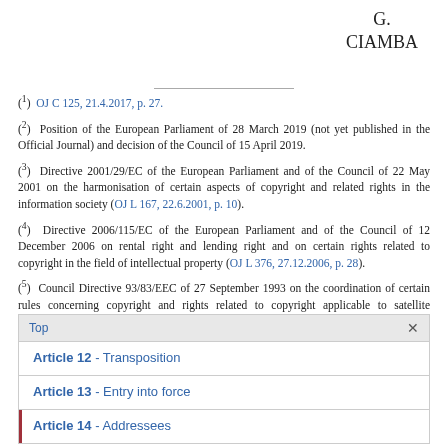G.
CIAMBA
(1) OJ C 125, 21.4.2017, p. 27.
(2) Position of the European Parliament of 28 March 2019 (not yet published in the Official Journal) and decision of the Council of 15 April 2019.
(3) Directive 2001/29/EC of the European Parliament and of the Council of 22 May 2001 on the harmonisation of certain aspects of copyright and related rights in the information society (OJ L 167, 22.6.2001, p. 10).
(4) Directive 2006/115/EC of the European Parliament and of the Council of 12 December 2006 on rental right and lending right and on certain rights related to copyright in the field of intellectual property (OJ L 376, 27.12.2006, p. 28).
(5) Council Directive 93/83/EEC of 27 September 1993 on the coordination of certain rules concerning copyright and rights related to copyright applicable to satellite broadcasting and cable retransmission (OJ L 248, 6.10.1993, p. 15).
| Top | × |
| Article 12 - Transposition |
| Article 13 - Entry into force |
| Article 14 - Addressees |